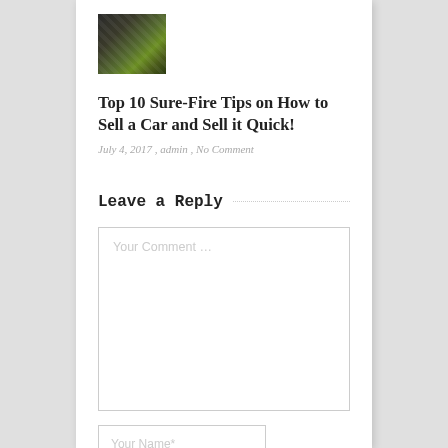[Figure (photo): Small thumbnail photo of a car interior or dashboard, dark tones with green tints]
Top 10 Sure-Fire Tips on How to Sell a Car and Sell it Quick!
July 4, 2017 , admin , No Comment
Leave a Reply
Your Comment  …
Your Name*